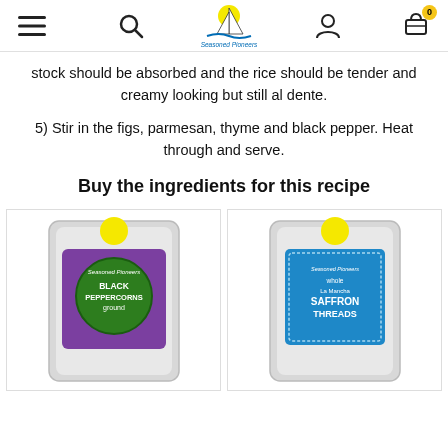Seasoned Pioneers [navigation header with logo, search, account, cart]
stock should be absorbed and the rice should be tender and creamy looking but still al dente.
5) Stir in the figs, parmesan, thyme and black pepper. Heat through and serve.
Buy the ingredients for this recipe
[Figure (photo): Product image of Black Peppercorns ground in a silver resealable pouch with purple label showing Seasoned Pioneers branding]
[Figure (photo): Product image of whole La Mancha Saffron Threads in a silver resealable pouch with blue label showing Seasoned Pioneers branding]